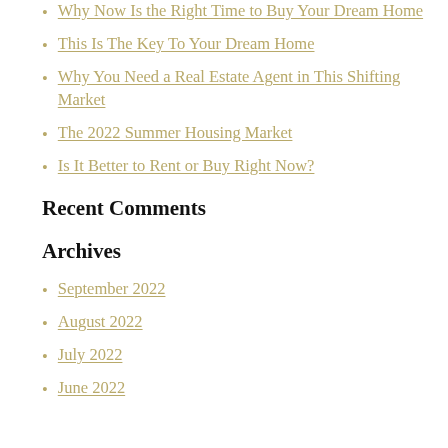Why Now Is the Right Time to Buy Your Dream Home
This Is The Key To Your Dream Home
Why You Need a Real Estate Agent in This Shifting Market
The 2022 Summer Housing Market
Is It Better to Rent or Buy Right Now?
Recent Comments
Archives
September 2022
August 2022
July 2022
June 2022